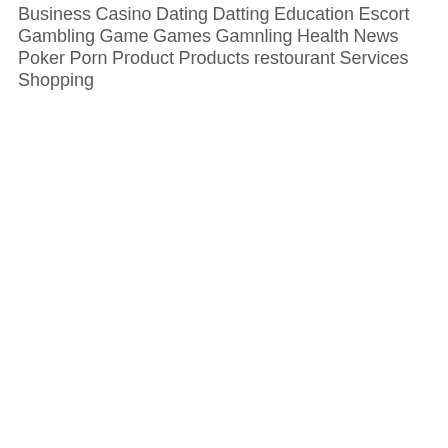Business
Casino
Dating
Datting
Education
Escort
Gambling
Game
Games
Gamnling
Health
News
Poker
Porn
Product
Products
restourant
Services
Shopping